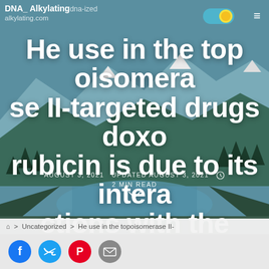DNA_ Alkylatingdna-ized
alkylating.com
He use in the topoisomerase II-targeted drugs doxorubicin is due to its interactions with the
AUGUST 3, 2021   UPDATED AUGUST 3, 2021   2 MIN READ
> Uncategorized > He use in the topoisomerase II-